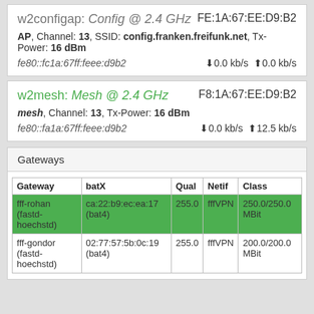w2configap: Config @ 2.4 GHz   FE:1A:67:EE:D9:B2
AP, Channel: 13, SSID: config.franken.freifunk.net, Tx-Power: 16 dBm
fe80::fc1a:67ff:feee:d9b2   ↓0.0 kb/s ↑0.0 kb/s
w2mesh: Mesh @ 2.4 GHz   F8:1A:67:EE:D9:B2
mesh, Channel: 13, Tx-Power: 16 dBm
fe80::fa1a:67ff:feee:d9b2   ↓0.0 kb/s ↑12.5 kb/s
Gateways
| Gateway | batX | Qual | Netif | Class |
| --- | --- | --- | --- | --- |
| fff-rohan (fastd-hoechstd) | ca:22:b9:ec:ea:17 (bat4) | 255.0 | fffVPN | 250.0/250.0 MBit |
| fff-gondor (fastd-hoechstd) | 02:77:57:5b:0c:19 (bat4) | 255.0 | fffVPN | 200.0/200.0 MBit |